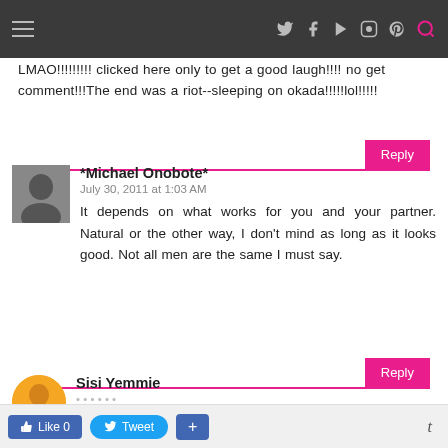Navigation bar with hamburger menu, Twitter, Facebook, YouTube, Instagram, Pinterest, and Search icons
LMAO!!!!!!!!! clicked here only to get a good laugh!!!! no get comment!!!The end was a riot--sleeping on okada!!!!!lol!!!!!
Reply
*Michael Onobote*
July 30, 2011 at 1:03 AM
It depends on what works for you and your partner. Natural or the other way, I don't mind as long as it looks good. Not all men are the same I must say.
Reply
Sisi Yemmie
Like 0   Tweet   +   t